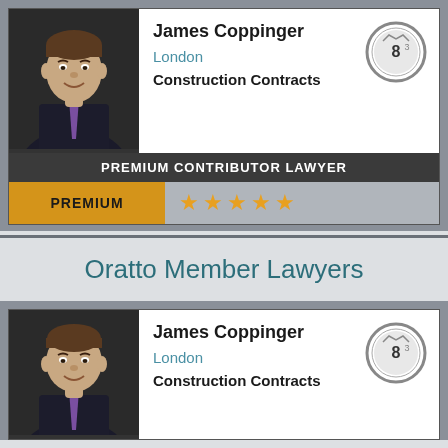[Figure (photo): Headshot of James Coppinger, a man in a dark suit with a purple tie, smiling]
James Coppinger
London
Construction Contracts
[Figure (logo): Circular badge with number 83]
PREMIUM CONTRIBUTOR LAWYER
PREMIUM ★★★★★
Oratto Member Lawyers
[Figure (photo): Headshot of James Coppinger, a man in a dark suit with a purple tie, smiling]
James Coppinger
London
Construction Contracts
[Figure (logo): Circular badge with number 83]